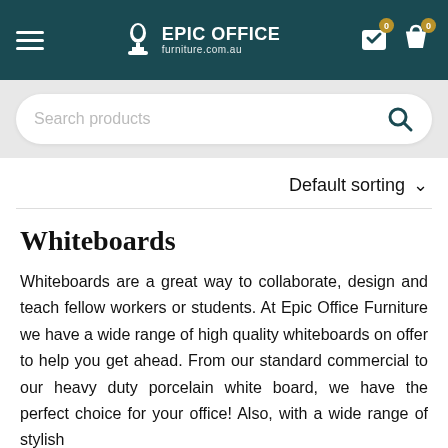EPIC OFFICE furniture.com.au
Search products
Default sorting
Whiteboards
Whiteboards are a great way to collaborate, design and teach fellow workers or students. At Epic Office Furniture we have a wide range of high quality whiteboards on offer to help you get ahead. From our standard commercial to our heavy duty porcelain white board, we have the perfect choice for your office! Also, with a wide range of stylish